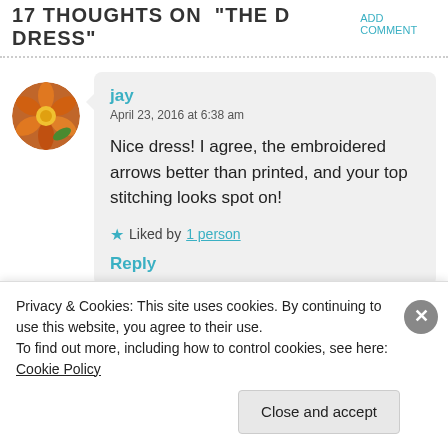17 THOUGHTS ON "THE D DRESS"  ADD COMMENT
jay
April 23, 2016 at 6:38 am

Nice dress! I agree, the embroidered arrows better than printed, and your top stitching looks spot on!

★ Liked by 1 person

Reply
Privacy & Cookies: This site uses cookies. By continuing to use this website, you agree to their use.
To find out more, including how to control cookies, see here: Cookie Policy
Close and accept